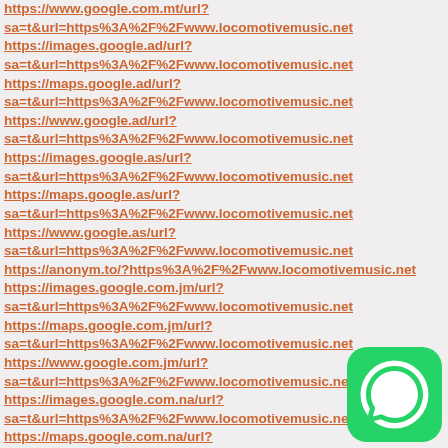https://www.google.com.mt/url?
sa=t&url=https%3A%2F%2Fwww.locomotivemusic.net
https://images.google.ad/url?
sa=t&url=https%3A%2F%2Fwww.locomotivemusic.net
https://maps.google.ad/url?
sa=t&url=https%3A%2F%2Fwww.locomotivemusic.net
https://www.google.ad/url?
sa=t&url=https%3A%2F%2Fwww.locomotivemusic.net
https://images.google.as/url?
sa=t&url=https%3A%2F%2Fwww.locomotivemusic.net
https://maps.google.as/url?
sa=t&url=https%3A%2F%2Fwww.locomotivemusic.net
https://www.google.as/url?
sa=t&url=https%3A%2F%2Fwww.locomotivemusic.net
https://anonym.to/?https%3A%2F%2Fwww.locomotivemusic.net
https://images.google.com.jm/url?
sa=t&url=https%3A%2F%2Fwww.locomotivemusic.net
https://maps.google.com.jm/url?
sa=t&url=https%3A%2F%2Fwww.locomotivemusic.net
https://www.google.com.jm/url?
sa=t&url=https%3A%2F%2Fwww.locomotivemusic.net
https://images.google.com.na/url?
sa=t&url=https%3A%2F%2Fwww.locomotivemusic.net
https://maps.google.com.na/url?
sa=t&url=https%3A%2F%2Fwww.locomotivemusic.net